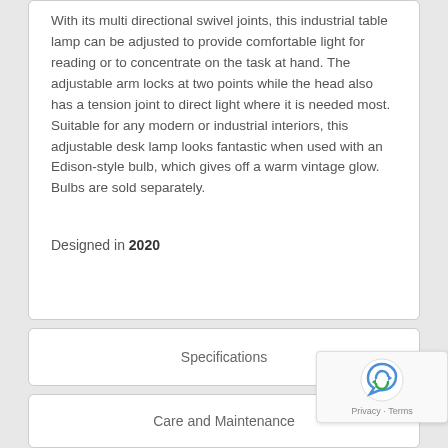With its multi directional swivel joints, this industrial table lamp can be adjusted to provide comfortable light for reading or to concentrate on the task at hand. The adjustable arm locks at two points while the head also has a tension joint to direct light where it is needed most. Suitable for any modern or industrial interiors, this adjustable desk lamp looks fantastic when used with an Edison-style bulb, which gives off a warm vintage glow. Bulbs are sold separately.
Designed in 2020
Specifications
Care and Maintenance